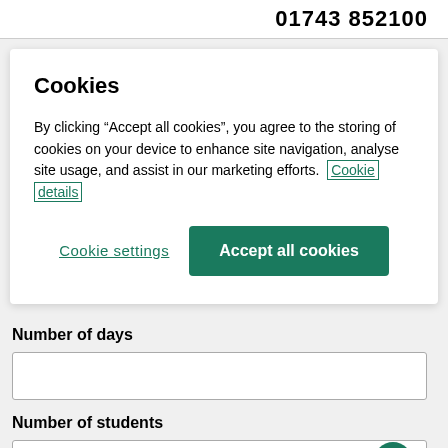01743 852100
Cookies
By clicking “Accept all cookies”, you agree to the storing of cookies on your device to enhance site navigation, analyse site usage, and assist in our marketing efforts. Cookie details
Cookie settings
Accept all cookies
Number of days
Number of students